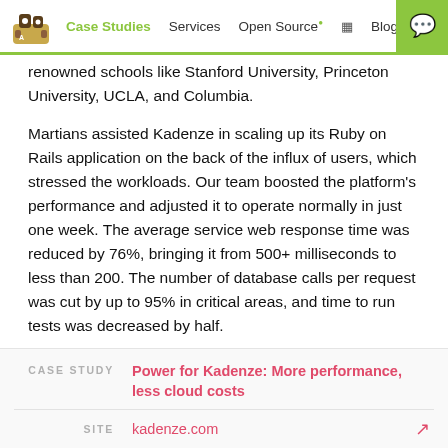Case Studies  Services  Open Source  Blog
renowned schools like Stanford University, Princeton University, UCLA, and Columbia.
Martians assisted Kadenze in scaling up its Ruby on Rails application on the back of the influx of users, which stressed the workloads. Our team boosted the platform's performance and adjusted it to operate normally in just one week. The average service web response time was reduced by 76%, bringing it from 500+ milliseconds to less than 200. The number of database calls per request was cut by up to 95% in critical areas, and time to run tests was decreased by half.
CASE STUDY  Power for Kadenze: More performance, less cloud costs
SITE  kadenze.com